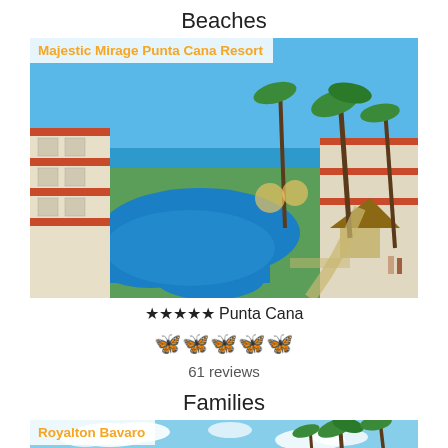Beaches
[Figure (photo): Aerial view of Majestic Mirage Punta Cana Resort showing a large curved blue pool, white resort buildings with red-tiled roofs, palm trees, and beach in the background.]
★★★★★ Punta Cana
🦋🦋🦋🦋🦋 (butterfly rating icons, orange)
61 reviews
Families
[Figure (photo): Royalton Bavaro resort exterior showing white hotel building, palm trees, and blue sky with clouds.]